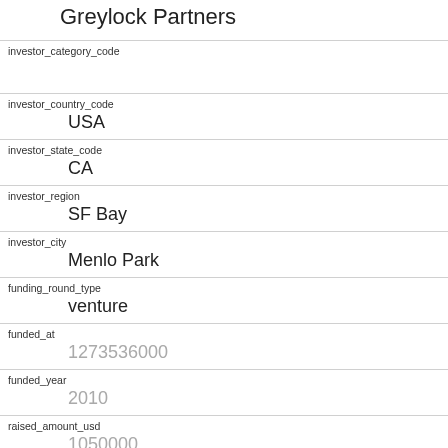Greylock Partners
investor_category_code
investor_country_code
USA
investor_state_code
CA
investor_region
SF Bay
investor_city
Menlo Park
funding_round_type
venture
funded_at
1273536000
funded_year
2010
raised_amount_usd
1050000
gristHelper_Display2